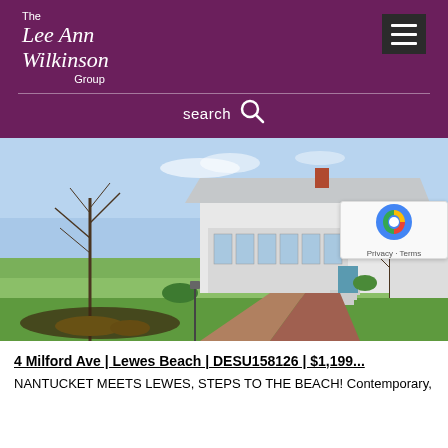The Lee Ann Wilkinson Group
search
[Figure (photo): Exterior photo of a white Cape Cod / Nantucket-style beach house with a green lawn, brick walkway, yellow flowers, bare trees, and blue sky]
4 Milford Ave | Lewes Beach | DESU158126 | $1,199...
NANTUCKET MEETS LEWES, STEPS TO THE BEACH! Contemporary,